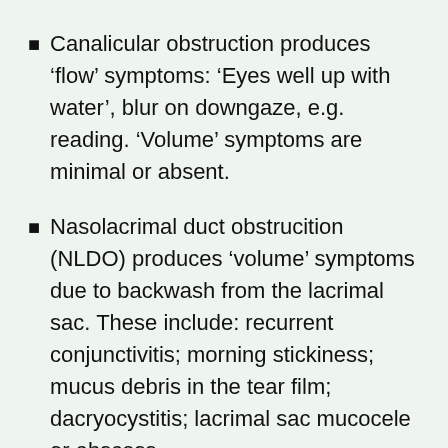Canalicular obstruction produces ‘flow’ symptoms: ‘Eyes well up with water’, blur on downgaze, e.g. reading. ‘Volume’ symptoms are minimal or absent.
Nasolacrimal duct obstrucition (NLDO) produces ‘volume’ symptoms due to backwash from the lacrimal sac. These include: recurrent conjunctivitis; morning stickiness; mucus debris in the tear film; dacryocystitis; lacrimal sac mucocele or abscess.